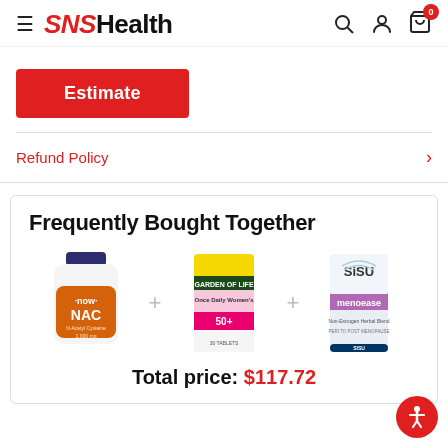SNSHealth — navigation header with search, account, and cart icons
Estimate
Refund Policy
Frequently Bought Together
[Figure (photo): Three product images shown side by side: NOW NAC supplement bottle, Garden of Life Once Daily Women's 50+ vitamins, and SISU MenoEase supplement box]
Total price: $117.72